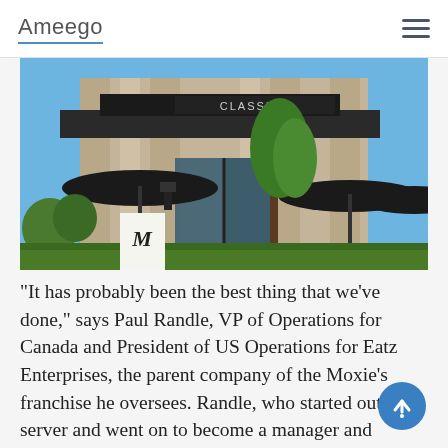Ameego
[Figure (photo): Exterior photo of a Moxie's restaurant with stone facade, black umbrella-covered outdoor seating, glass entrance doors, and tropical plants under a blue sky.]
“It has probably been the best thing that we’ve done,” says Paul Randle, VP of Operations for Canada and President of US Operations for Eatz Enterprises, the parent company of the Moxie’s franchise he oversees. Randle, who started out as a server and went on to become a manager and